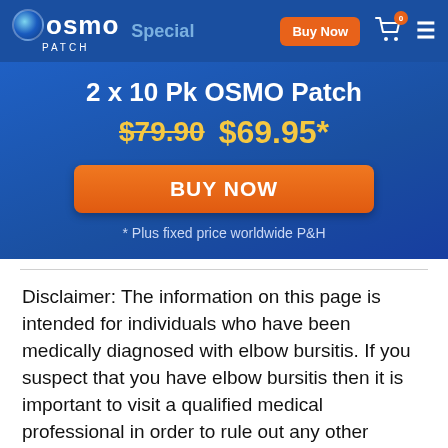[Figure (logo): OSMO Patch logo with blue globe icon and white text, navigation bar with 'Special', orange 'Buy Now' button, cart icon with badge '0', and hamburger menu]
2 x 10 Pk OSMO Patch
$79.90  $69.95*
BUY NOW
* Plus fixed price worldwide P&H
Disclaimer: The information on this page is intended for individuals who have been medically diagnosed with elbow bursitis. If you suspect that you have elbow bursitis then it is important to visit a qualified medical professional in order to rule out any other possible causes prior to considering any